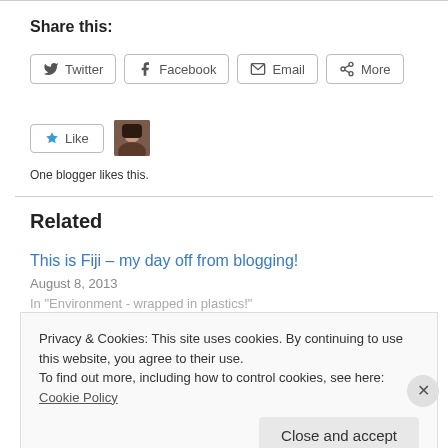Share this:
[Figure (screenshot): Share buttons: Twitter, Facebook, Email, More]
[Figure (screenshot): Like button with blogger avatar and 'One blogger likes this.' text]
One blogger likes this.
Related
This is Fiji – my day off from blogging!
August 8, 2013
In "Environment - wrapped in plastics!"
Privacy & Cookies: This site uses cookies. By continuing to use this website, you agree to their use.
To find out more, including how to control cookies, see here: Cookie Policy